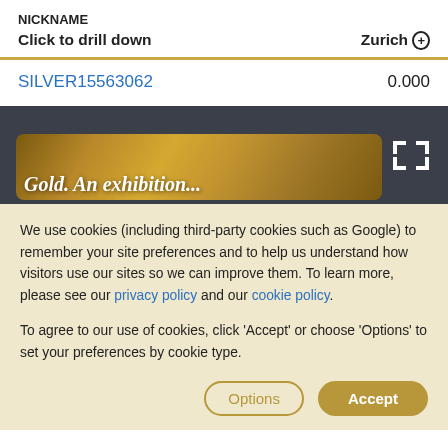NICKNAME
Click to drill down	Zurich
SILVER15563062	0.000
[Figure (screenshot): Gold exhibition banner image showing golden textured surfaces with text 'Gold. An exhibition' overlaid]
We use cookies (including third-party cookies such as Google) to remember your site preferences and to help us understand how visitors use our sites so we can improve them. To learn more, please see our privacy policy and our cookie policy.
To agree to our use of cookies, click 'Accept' or choose 'Options' to set your preferences by cookie type.